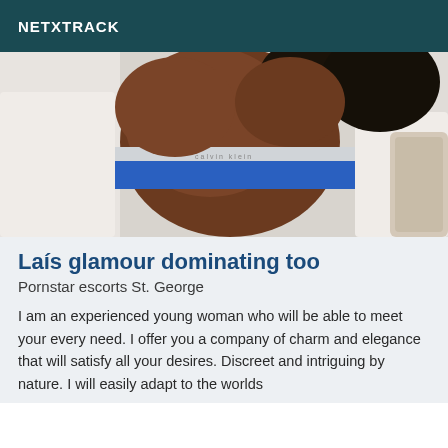NETXTRACK
[Figure (photo): Close-up photo of a person wearing blue underwear and white clothing, cropped view from behind/side]
Laís glamour dominating too
Pornstar escorts St. George
I am an experienced young woman who will be able to meet your every need. I offer you a company of charm and elegance that will satisfy all your desires. Discreet and intriguing by nature. I will easily adapt to the worlds